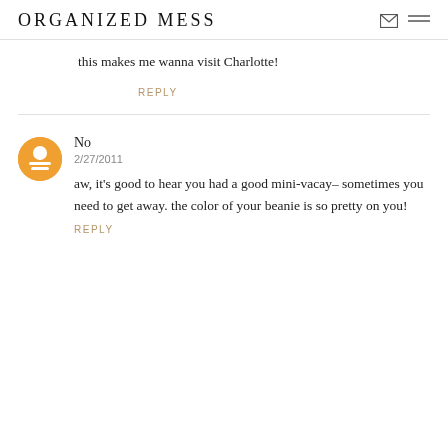ORGANIZED MESS
this makes me wanna visit Charlotte!
REPLY
No
2/27/2011
aw, it's good to hear you had a good mini-vacay– sometimes you need to get away. the color of your beanie is so pretty on you!
REPLY